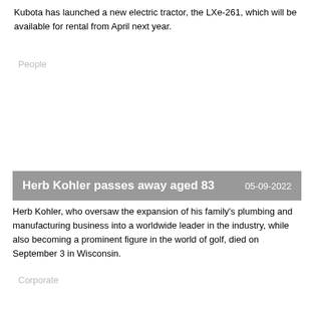Kubota has launched a new electric tractor, the LXe-261, which will be available for rental from April next year.
People
Herb Kohler passes away aged 83
Herb Kohler, who oversaw the expansion of his family’s plumbing and manufacturing business into a worldwide leader in the industry, while also becoming a prominent figure in the world of golf, died on September 3 in Wisconsin.
Corporate